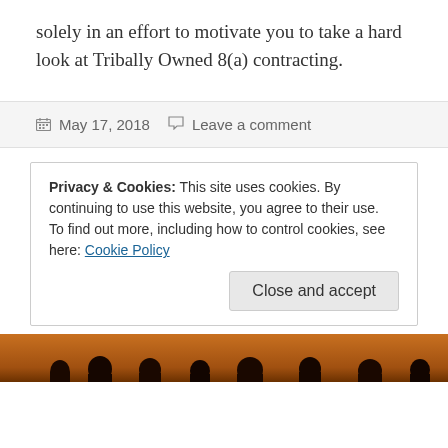solely in an effort to motivate you to take a hard look at Tribally Owned 8(a) contracting.
May 17, 2018   Leave a comment
Privacy & Cookies: This site uses cookies. By continuing to use this website, you agree to their use.
To find out more, including how to control cookies, see here: Cookie Policy
[Figure (photo): Silhouette photo of people against an orange/brown background, partially visible at bottom of page]